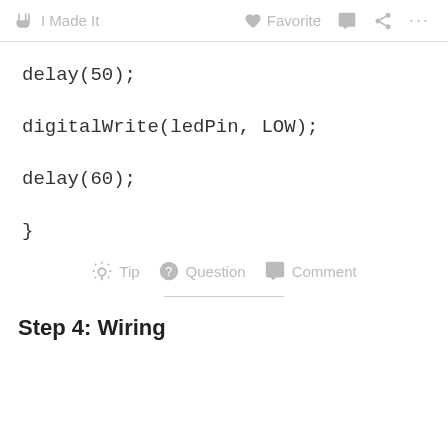✋ I Made It   ♥ Favorite  💬  ⋯
delay(50);
digitalWrite(ledPin, LOW);
delay(60);
}
💡 Tip  ? Question  💬 Comment
Step 4: Wiring